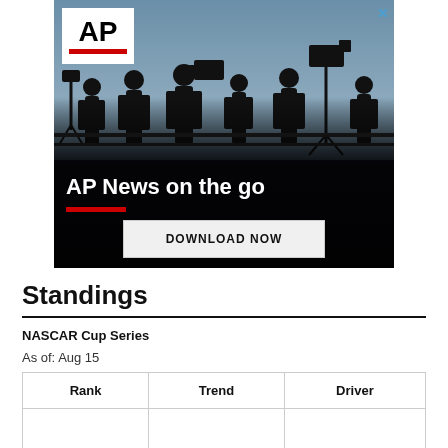[Figure (photo): AP News advertisement banner showing silhouettes of journalists/cameramen against a dusk sky. White AP logo in top-left, headline 'AP News on the go' in white text, red underline bar, and 'DOWNLOAD NOW' button.]
Standings
NASCAR Cup Series
As of: Aug 15
| Rank | Trend | Driver |
| --- | --- | --- |
|  |  |  |